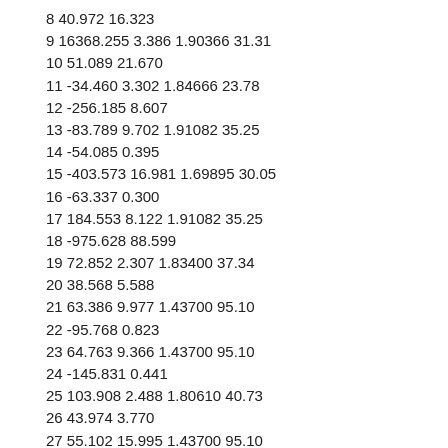8 40.972 16.323
9 16368.255 3.386 1.90366 31.31
10 51.089 21.670
11 -34.460 3.302 1.84666 23.78
12 -256.185 8.607
13 -83.789 9.702 1.91082 35.25
14 -54.085 0.395
15 -403.573 16.981 1.69895 30.05
16 -63.337 0.300
17 184.553 8.122 1.91082 35.25
18 -975.628 88.599
19 72.852 2.307 1.83400 37.34
20 38.568 5.588
21 63.386 9.977 1.43700 95.10
22 -95.768 0.823
23 64.763 9.366 1.43700 95.10
24 -145.831 0.441
25 103.908 2.488 1.80610 40.73
26 43.974 3.770
27 55.102 15.995 1.43700 95.10
28 -41.157 0.319
29 -66.000 3.500 1.90366 31.31
30 -217.687 0.573